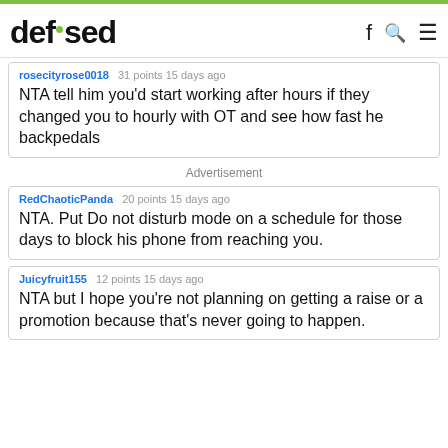defused
rosecityrose0018   31 points 15 days ago
NTA tell him you'd start working after hours if they changed you to hourly with OT and see how fast he backpedals
Advertisement
RedChaoticPanda   20 points 15 days ago
NTA. Put Do not disturb mode on a schedule for those days to block his phone from reaching you.
Juicyfruit155   12 points 15 days ago
NTA but I hope you're not planning on getting a raise or a promotion because that's never going to happen.